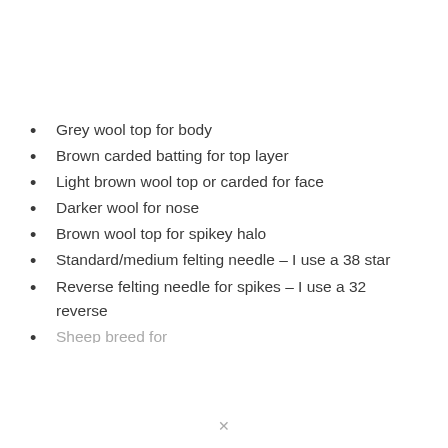Grey wool top for body
Brown carded batting for top layer
Light brown wool top or carded for face
Darker wool for nose
Brown wool top for spikey halo
Standard/medium felting needle – I use a 38 star
Reverse felting needle for spikes – I use a 32 reverse
Sheep breed for…